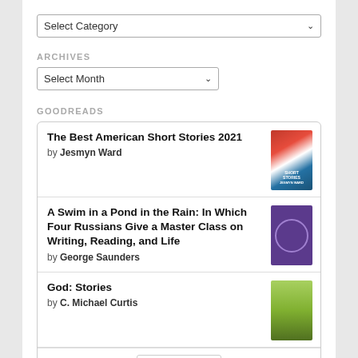[Figure (screenshot): Select Category dropdown control]
ARCHIVES
[Figure (screenshot): Select Month dropdown control]
GOODREADS
The Best American Short Stories 2021 by Jesmyn Ward
A Swim in a Pond in the Rain: In Which Four Russians Give a Master Class on Writing, Reading, and Life by George Saunders
God: Stories by C. Michael Curtis
[Figure (logo): goodreads logo in a rounded rectangle]